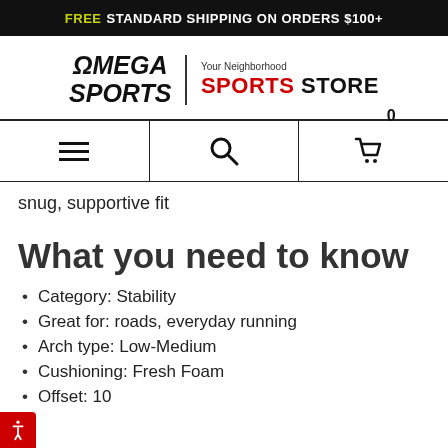FREE STANDARD SHIPPING ON ORDERS $100+
[Figure (logo): Omega Sports logo with tagline 'Your Neighborhood SPORTS STORE']
[Figure (infographic): Navigation bar with hamburger menu, search icon, and cart icon with 0 items]
snug, supportive fit
What you need to know
Category: Stability
Great for: roads, everyday running
Arch type: Low-Medium
Cushioning: Fresh Foam
Offset: 10